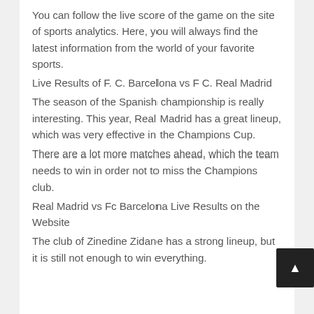You can follow the live score of the game on the site of sports analytics. Here, you will always find the latest information from the world of your favorite sports.
Live Results of F. C. Barcelona vs F C. Real Madrid
The season of the Spanish championship is really interesting. This year, Real Madrid has a great lineup, which was very effective in the Champions Cup.
There are a lot more matches ahead, which the team needs to win in order not to miss the Champions club.
Real Madrid vs Fc Barcelona Live Results on the Website
The club of Zinedine Zidane has a strong lineup, but it is still not enough to win everything.